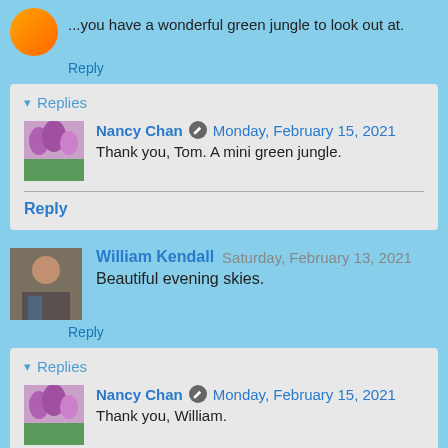...you have a wonderful green jungle to look out at.
Reply
▾ Replies
Nancy Chan  Monday, February 15, 2021
Thank you, Tom. A mini green jungle.
Reply
William Kendall  Saturday, February 13, 2021
Beautiful evening skies.
Reply
▾ Replies
Nancy Chan  Monday, February 15, 2021
Thank you, William.